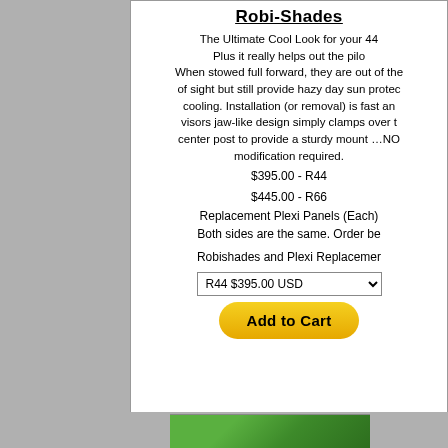Robi-Shades
The Ultimate Cool Look for your 44... Plus it really helps out the pilo... When stowed full forward, they are out of the... of sight but still provide hazy day sun protec... cooling. Installation (or removal) is fast a... visors jaw-like design simply clamps over t... center post to provide a sturdy mount …NO... modification required.
$395.00 - R44
$445.00 - R66
Replacement Plexi Panels (Each)
Both sides are the same. Order be...
Robishades and Plexi Replacemer...
[Figure (screenshot): Dropdown selector showing 'R44 $395.00 USD' with arrow, and a yellow 'Add to Cart' button below]
[Figure (photo): Green aircraft part photo strip at bottom]